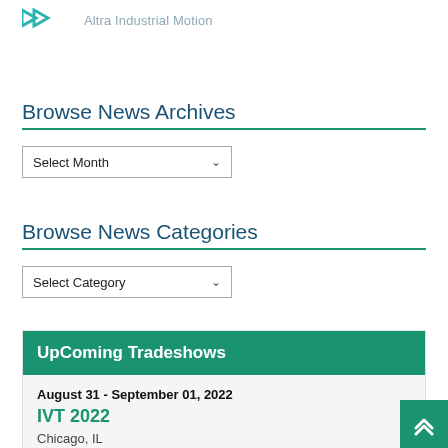[Figure (logo): Altra Industrial Motion logo with teal/blue arrow chevrons and gray text]
Browse News Archives
[Figure (screenshot): Select Month dropdown control]
Browse News Categories
[Figure (screenshot): Select Category dropdown control]
UpComing Tradeshows
August 31 - September 01, 2022
IVT 2022
Chicago, IL